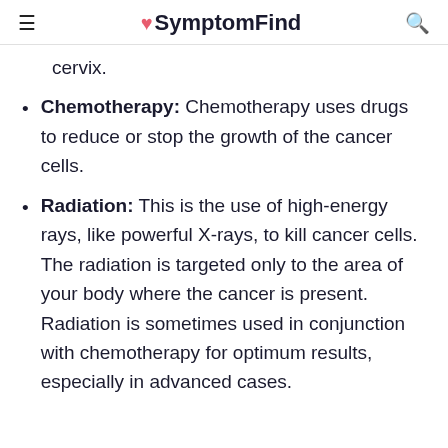≡ ♥SymptomFind 🔍
cervix.
Chemotherapy: Chemotherapy uses drugs to reduce or stop the growth of the cancer cells.
Radiation: This is the use of high-energy rays, like powerful X-rays, to kill cancer cells. The radiation is targeted only to the area of your body where the cancer is present. Radiation is sometimes used in conjunction with chemotherapy for optimum results, especially in advanced cases.